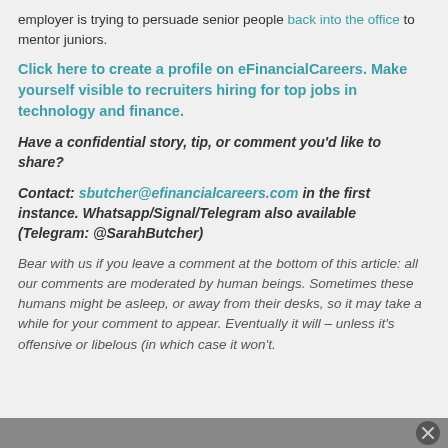employer is trying to persuade senior people back into the office to mentor juniors.
Click here to create a profile on eFinancialCareers. Make yourself visible to recruiters hiring for top jobs in technology and finance.
Have a confidential story, tip, or comment you'd like to share?
Contact: sbutcher@efinancialcareers.com in the first instance. Whatsapp/Signal/Telegram also available (Telegram: @SarahButcher)
Bear with us if you leave a comment at the bottom of this article: all our comments are moderated by human beings. Sometimes these humans might be asleep, or away from their desks, so it may take a while for your comment to appear. Eventually it will – unless it's offensive or libelous (in which case it won't.